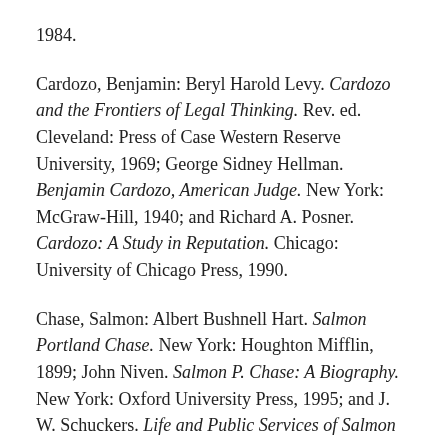1984.
Cardozo, Benjamin: Beryl Harold Levy. Cardozo and the Frontiers of Legal Thinking. Rev. ed. Cleveland: Press of Case Western Reserve University, 1969; George Sidney Hellman. Benjamin Cardozo, American Judge. New York: McGraw-Hill, 1940; and Richard A. Posner. Cardozo: A Study in Reputation. Chicago: University of Chicago Press, 1990.
Chase, Salmon: Albert Bushnell Hart. Salmon Portland Chase. New York: Houghton Mifflin, 1899; John Niven. Salmon P. Chase: A Biography. New York: Oxford University Press, 1995; and J. W. Schuckers. Life and Public Services of Salmon